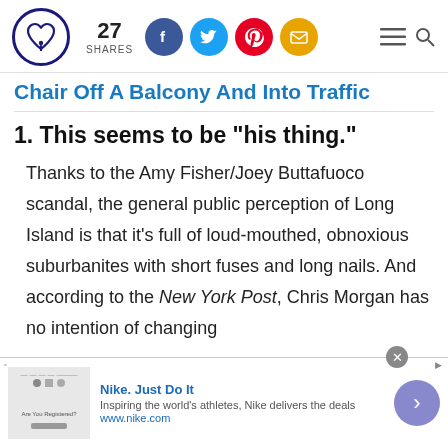27 SHARES [social icons: Facebook, Twitter, Pinterest, Email] [hamburger menu] [search]
Chair Off A Balcony And Into Traffic
1. This seems to be "his thing."
Thanks to the Amy Fisher/Joey Buttafuoco scandal, the general public perception of Long Island is that it's full of loud-mouthed, obnoxious suburbanites with short fuses and long nails. And according to the New York Post, Chris Morgan has no intention of changing
[Figure (other): Advertisement banner: Nike. Just Do It — Inspiring the world's athletes, Nike delivers the deals — www.nike.com]